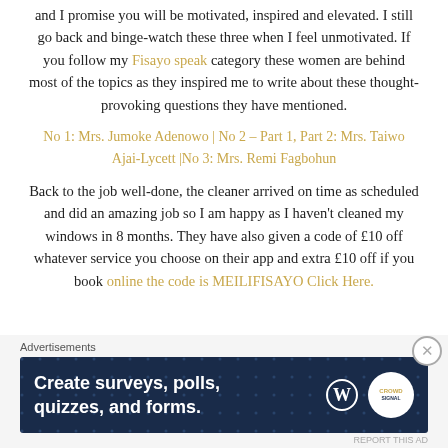and I promise you will be motivated, inspired and elevated. I still go back and binge-watch these three when I feel unmotivated. If you follow my Fisayo speak category these women are behind most of the topics as they inspired me to write about these thought-provoking questions they have mentioned.
No 1: Mrs. Jumoke Adenowo | No 2 – Part 1, Part 2: Mrs. Taiwo Ajai-Lycett |No 3: Mrs. Remi Fagbohun
Back to the job well-done, the cleaner arrived on time as scheduled and did an amazing job so I am happy as I haven't cleaned my windows in 8 months. They have also given a code of £10 off whatever service you choose on their app and extra £10 off if you book online the code is MEILIFISAYO Click Here.
Advertisements
[Figure (infographic): Dark blue advertisement banner for creating surveys, polls, quizzes, and forms, with WordPress logo and a circular crowd/social icon.]